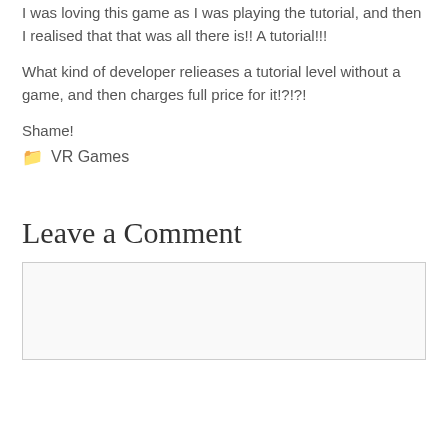I was loving this game as I was playing the tutorial, and then I realised that that was all there is!! A tutorial!!!
What kind of developer relieases a tutorial level without a game, and then charges full price for it!?!?!
Shame!
📁 VR Games
Leave a Comment